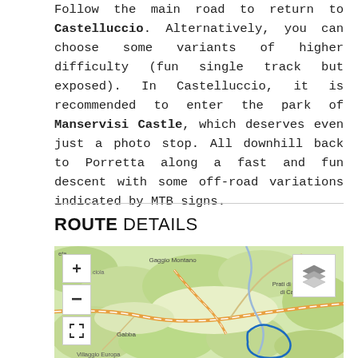Follow the main road to return to Castelluccio. Alternatively, you can choose some variants of higher difficulty (fun single track but exposed). In Castelluccio, it is recommended to enter the park of Manservisi Castle, which deserves even just a photo stop. All downhill back to Porretta along a fast and fun descent with some off-road variations indicated by MTB signs.
ROUTE DETAILS
[Figure (map): Interactive map showing the route area around Gaggio Montano, Gabba, Prati di Castel di Casio, and Villaggio Europa with map controls (zoom in, zoom out, fullscreen) and a layer switcher button. A blue route line is visible in the lower right area of the map.]